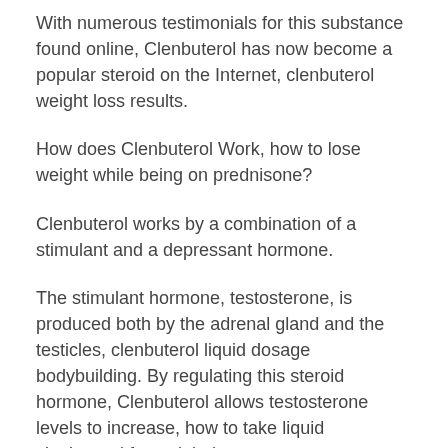With numerous testimonials for this substance found online, Clenbuterol has now become a popular steroid on the Internet, clenbuterol weight loss results.
How does Clenbuterol Work, how to lose weight while being on prednisone?
Clenbuterol works by a combination of a stimulant and a depressant hormone.
The stimulant hormone, testosterone, is produced both by the adrenal gland and the testicles, clenbuterol liquid dosage bodybuilding. By regulating this steroid hormone, Clenbuterol allows testosterone levels to increase, how to take liquid clenbuterol for weight loss.
The stimulant hormone stimulates the